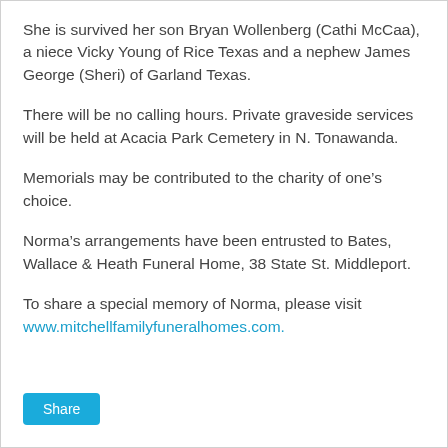She is survived her son Bryan Wollenberg (Cathi McCaa), a niece Vicky Young of Rice Texas and a nephew James George (Sheri) of Garland Texas.
There will be no calling hours. Private graveside services will be held at Acacia Park Cemetery in N. Tonawanda.
Memorials may be contributed to the charity of one’s choice.
Norma’s arrangements have been entrusted to Bates, Wallace & Heath Funeral Home, 38 State St. Middleport.
To share a special memory of Norma, please visit www.mitchellfamilyfuneralhomes.com.